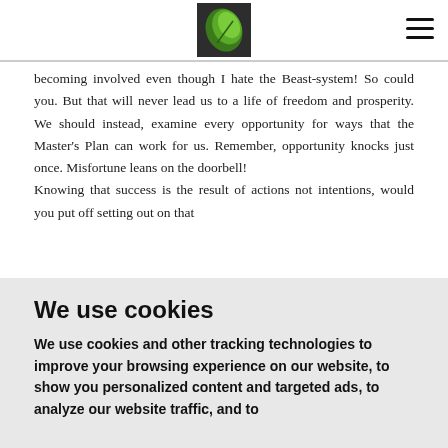[Figure (logo): Green leaf logo image in center of header bar]
becoming involved even though I hate the Beast-system! So could you. But that will never lead us to a life of freedom and prosperity. We should instead, examine every opportunity for ways that the Master's Plan can work for us. Remember, opportunity knocks just once. Misfortune leans on the doorbell!
Knowing that success is the result of actions not intentions, would you put off setting out on that
We use cookies
We use cookies and other tracking technologies to improve your browsing experience on our website, to show you personalized content and targeted ads, to analyze our website traffic, and to